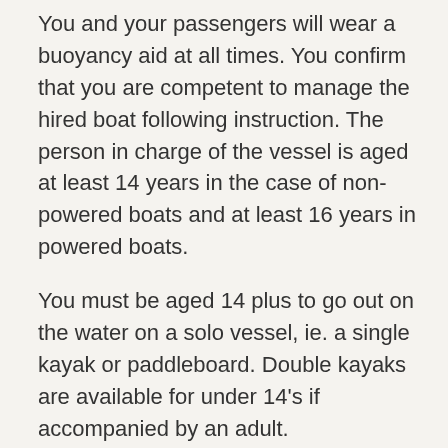You and your passengers will wear a buoyancy aid at all times. You confirm that you are competent to manage the hired boat following instruction. The person in charge of the vessel is aged at least 14 years in the case of non-powered boats and at least 16 years in powered boats.
You must be aged 14 plus to go out on the water on a solo vessel, ie. a single kayak or paddleboard. Double kayaks are available for under 14's if accompanied by an adult.
Please note children under 14 require adult supervision at all times.
You will not exceed the maximum number of passengers stated on the boat. You and your passengers will not leave the main seating area of